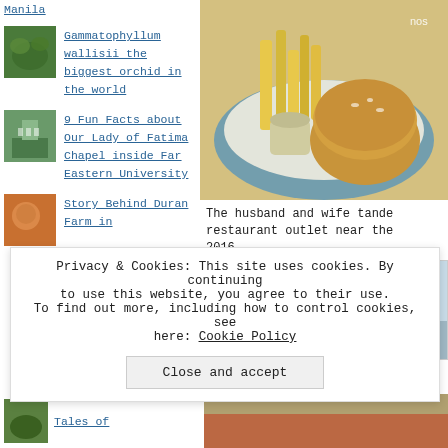Manila
[Figure (photo): Small thumbnail of orchid/plant]
Gammatophyllum wallisii the biggest orchid in the world
[Figure (photo): Small thumbnail of Lady of Fatima Chapel]
9 Fun Facts about Our Lady of Fatima Chapel inside Far Eastern University
[Figure (photo): Small thumbnail for Duran Farm story]
Story Behind Duran Farm in
[Figure (photo): Food photo showing burger and fries in blue basket with dipping sauce]
The husband and wife tande restaurant outlet near the 2016 .
[Figure (photo): Photo of building exterior against sky with dark structural element]
Privacy & Cookies: This site uses cookies. By continuing to use this website, you agree to their use. To find out more, including how to control cookies, see here: Cookie Policy
Close and accept
[Figure (photo): Small thumbnail bottom left - Tales of]
[Figure (photo): Bottom right strip photo]